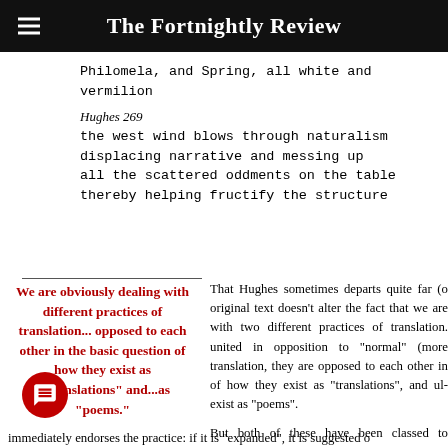The Fortnightly Review
Philomela, and Spring, all white and vermilion
Hughes 269
the west wind blows through naturalism
displacing narrative and messing up
all the scattered oddments on the table
thereby helping fructify the structure
We are obviously dealing with different practices of translation... opposed to each other in the basic question of how they exist as 1"translations" and...as "poems."
That Hughes sometimes departs quite far (o original text doesn't alter the fact that we are with two different practices of translation. united in opposition to "normal" (more translation, they are opposed to each other in of how they exist as "translations", and ult exist as "poems".

But both of these have been classed to academic category for which the term "exp has been coined. There have been at lea conferences on this entity in the short t invented. I don't think it was a good choi
immediately endorses the practice: if it is "expanded", it is suggested o